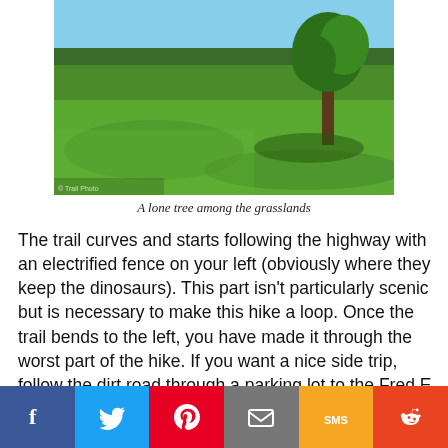[Figure (photo): A lone tree standing on the right side of a green grassland field, with blue sky and a treeline in the background.]
A lone tree among the grasslands
The trail curves and starts following the highway with an electrified fence on your left (obviously where they keep the dinosaurs). This part isn't particularly scenic but is necessary to make this hike a loop. Once the trail bends to the left, you have made it through the worst part of the hike. If you want a nice side trip, follow the dirt road through a parking lot to the Fred E. King Memorial Water-bird Observation Area (maybe someday one
[Figure (infographic): Social sharing bar with buttons: Facebook (blue), Twitter (light blue), Pinterest (red), Email (gray), SMS (yellow/orange), Reddit (orange-red)]